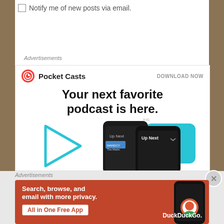Notify me of new posts via email.
Advertisements
[Figure (screenshot): Pocket Casts advertisement banner showing 'Your next favorite podcast is here.' with phone mockups and a play button graphic]
Advertisements
[Figure (screenshot): DuckDuckGo advertisement with orange background showing 'Search, browse, and email with more privacy. All in One Free App' with phone mockup and DuckDuckGo logo]